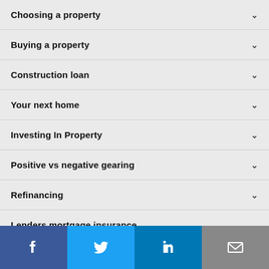Choosing a property
Buying a property
Construction loan
Your next home
Investing In Property
Positive vs negative gearing
Refinancing
Lenders mortgage insurance
Deposit Bond
Getting legal advice
[Figure (infographic): Social share bar with Facebook, Twitter, LinkedIn, and email icons]